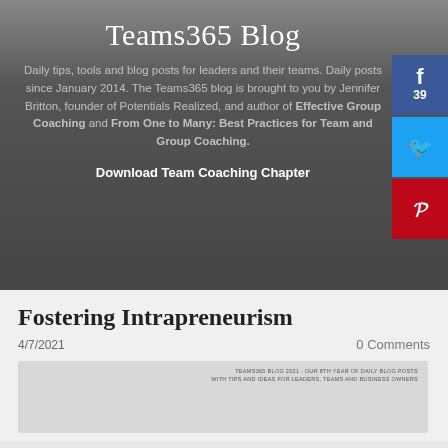Teams365 Blog
Daily tips, tools and blog posts for leaders and their teams. Daily posts since January 2014. The Teams365 blog is brought to you by Jennifer Britton, founder of Potentials Realized, and author of Effective Group Coaching and From One to Many: Best Practices for Team and Group Coaching.
Download Team Coaching Chapter
Fostering Intrapreneurism
4/7/2021
0 Comments
[Figure (photo): Blog post header image with text: TEAMS365 BLOG 2021 - OUR 8TH YEAR OF DAILY BLOG POSTS WITH TIPS AND IDEAS FOR LEADERS, TEAMS AND BUSINESS OWNERS]